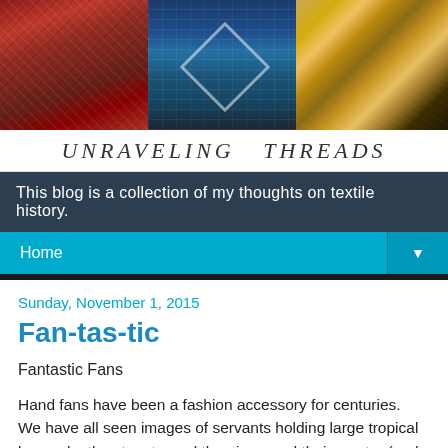[Figure (photo): Blog header banner showing three panels of colorful textiles: red patterned fabric on left, blue and white geometric fabric in center, gold/yellow draped fabric on right]
UNRAVELING THREADS
This blog is a collection of my thoughts on textile history.
Home ▼
Sunday, November 1, 2015
Fan-tas-tic
Fantastic Fans
Hand fans have been a fashion accessory for centuries.  We have all seen images of servants holding large tropical leaves by the stem to cool the air around their master (and probably keep flying insects at bay).